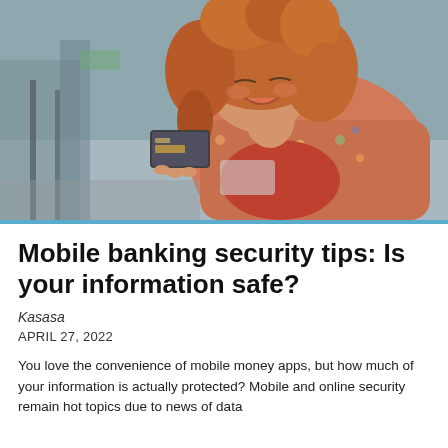[Figure (photo): A smiling young woman with curly red hair looking at a credit card while outdoors in an urban setting with blurred background]
Mobile banking security tips: Is your information safe?
Kasasa
APRIL 27, 2022
You love the convenience of mobile money apps, but how much of your information is actually protected? Mobile and online security remain hot topics due to news of data